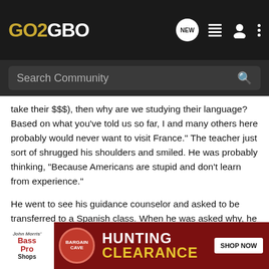GO2GBO
take their $$$), then why are we studying their language? Based on what you've told us so far, I and many others here probably would never want to visit France." The teacher just sort of shrugged his shoulders and smiled. He was probably thinking, "Because Americans are stupid and don't learn from experience."
He went to see his guidance counselor and asked to be transferred to a Spanish class. When he was asked why, he told him "I don't want to learn the language of a country that shows hatred towards the US policy and people after we saved their a$$ during two World Wars. It must have benefited him to transfer to Spanish, he now has a girlfriend from a Spanish speaking [country] [class] (must be [...]  with him
[Figure (screenshot): Bass Pro Shops Hunting Bargain Clearance advertisement banner with red background, Bass Pro Shops logo, Bargain Cave badge, HUNTING CLEARANCE text, and SHOP NOW button]